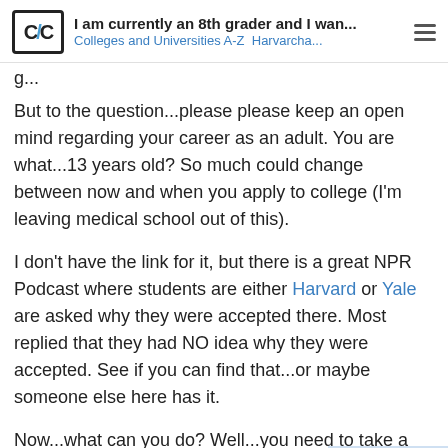I am currently an 8th grader and I wan... | Colleges and Universities A-Z  Harvarcha...
g...
But to the question...please please keep an open mind regarding your career as an adult. You are what...13 years old? So much could change between now and when you apply to college (I'm leaving medical school out of this).
I don't have the link for it, but there is a great NPR Podcast where students are either Harvard or Yale are asked why they were accepted there. Most replied that they had NO idea why they were accepted. See if you can find that...or maybe someone else here has it.
Now...what can you do? Well...you need to take a strong courseload in high school AN grades. And get great SAT or ACT sc
4 / 28